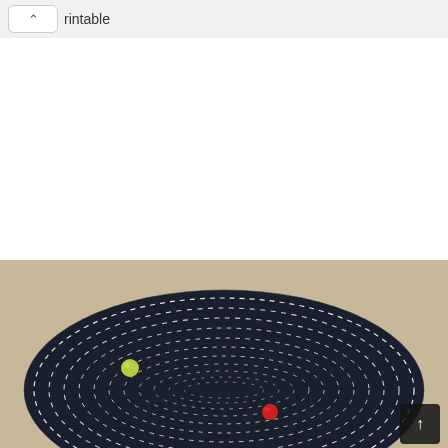rintable
[Figure (photo): A dark navy/black oval-shaped quilted fabric piece with white dashed stitching in concentric oval rings on a beige/linen background. Two small beads or pins are visible on the fabric — one yellow-green on the left and one red on the lower right.]